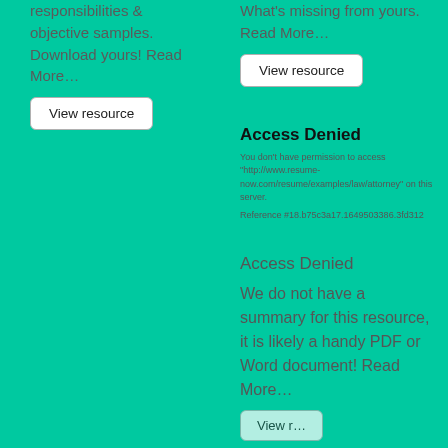responsibilities & objective samples. Download yours! Read More…
View resource
What's missing from yours. Read More…
View resource
Access Denied
You don't have permission to access "http://www.resume-now.com/resume/examples/law/attorney" on this server.
Reference #18.b75c3a17.1649503386.3fd312
Access Denied
We do not have a summary for this resource, it is likely a handy PDF or Word document! Read More…
View resource